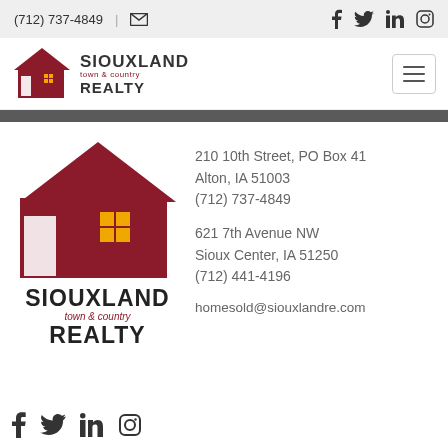(712) 737-4849 | [email icon] [facebook] [twitter] [linkedin] [instagram]
[Figure (logo): Siouxland Town & Country Realty logo with house graphic in nav bar]
[Figure (logo): Siouxland Town & Country Realty large logo with house graphic in main content area]
210 10th Street, PO Box 41
Alton, IA 51003
(712) 737-4849
621 7th Avenue NW
Sioux Center, IA 51250
(712) 441-4196
homesold@siouxlandre.com
[Figure (other): Social media icons at bottom: facebook, twitter, linkedin, instagram]